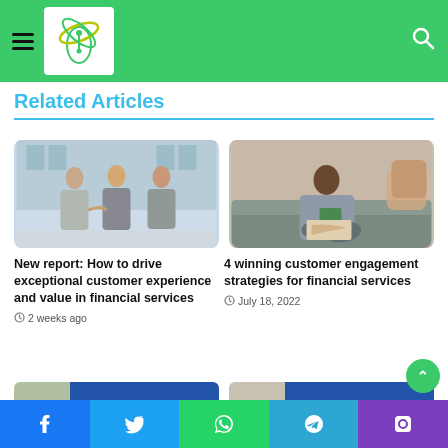Navigation header with logo and search
Related Articles
[Figure (photo): Two businessmen shaking hands with a woman in the background in an office/atrium setting]
New report: How to drive exceptional customer experience and value in financial services
2 weeks ago
[Figure (photo): A Black man sitting on a couch looking at a credit card and papers/map]
4 winning customer engagement strategies for financial services
July 18, 2022
[Figure (photo): Partial preview thumbnails of two more articles at bottom of page]
Social share buttons: Facebook, Twitter, WhatsApp, Telegram, Phone